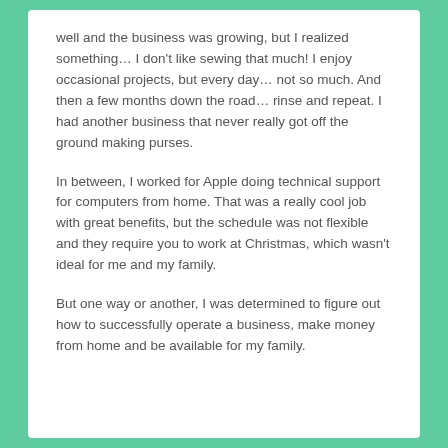well and the business was growing, but I realized something… I don't like sewing that much! I enjoy occasional projects, but every day… not so much. And then a few months down the road… rinse and repeat. I had another business that never really got off the ground making purses.
In between, I worked for Apple doing technical support for computers from home. That was a really cool job with great benefits, but the schedule was not flexible and they require you to work at Christmas, which wasn't ideal for me and my family.
But one way or another, I was determined to figure out how to successfully operate a business, make money from home and be available for my family.